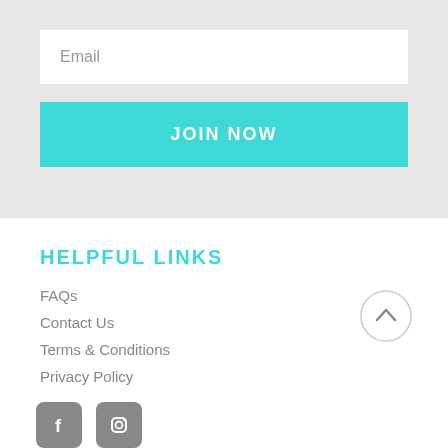Email
JOIN NOW
HELPFUL LINKS
FAQs
Contact Us
Terms & Conditions
Privacy Policy
[Figure (illustration): Scroll to top button - circle with upward arrow]
[Figure (illustration): Social media icons - Facebook and Instagram/camera icon]